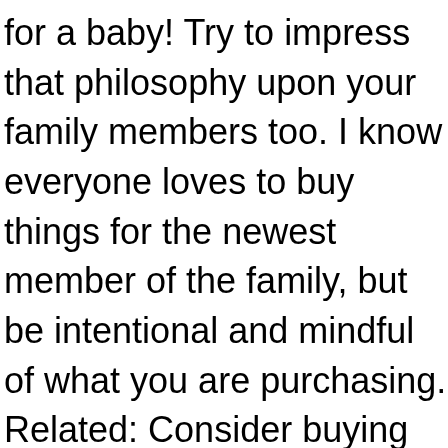for a baby! Try to impress that philosophy upon your family members too. I know everyone loves to buy things for the newest member of the family, but be intentional and mindful of what you are purchasing. Related: Consider buying second-hand. Items that are specific to certain stages of babyhood are truly not used for long before becoming